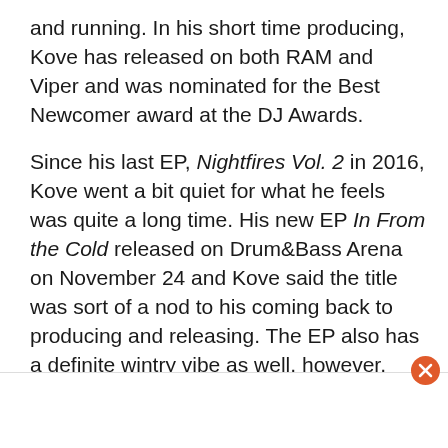and running. In his short time producing, Kove has released on both RAM and Viper and was nominated for the Best Newcomer award at the DJ Awards.
Since his last EP, Nightfires Vol. 2 in 2016, Kove went a bit quiet for what he feels was quite a long time. His new EP In From the Cold released on Drum&Bass Arena on November 24 and Kove said the title was sort of a nod to his coming back to producing and releasing. The EP also has a definite wintry vibe as well, however, and brings back sounds of drum and bass eras past. When Your EDM sat down to talk to the far-too-wise-for-his-years producer, he talked about his inspiration for the sound on this EP, as well as his techniques and general sound philosophy. For a producer who's as young and as fresh, Kove defini...